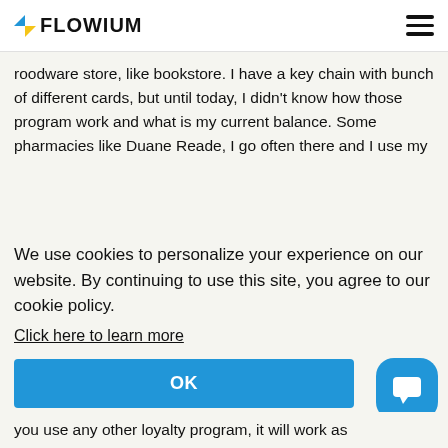FLOWIUM
roodware store, like bookstore. I have a key chain with bunch of different cards, but until today, I didn't know how those program work and what is my current balance. Some pharmacies like Duane Reade, I go often there and I use my
We use cookies to personalize your experience on our website. By continuing to use this site, you agree to our cookie policy.
Click here to learn more
OK
you use any other loyalty program, it will work as